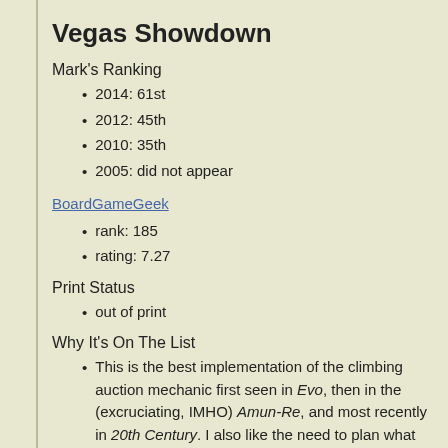Vegas Showdown
Mark's Ranking
2014: 61st
2012: 45th
2010: 35th
2005: did not appear
BoardGameGeek
rank: 185
rating: 7.27
Print Status
out of print
Why It's On The List
This is the best implementation of the climbing auction mechanic first seen in Evo, then in the (excruciating, IMHO) Amun-Re, and most recently in 20th Century. I also like the need to plan what rooms you'll add to your Vegas resort... and in what order to build them.